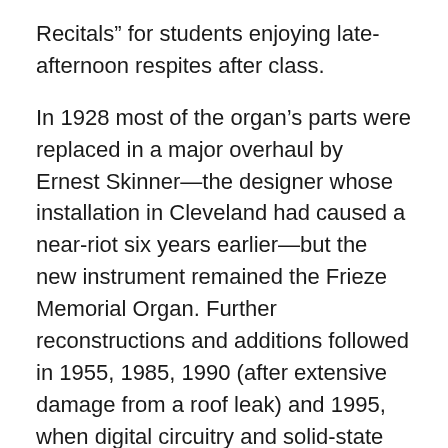Recitals” for students enjoying late-afternoon respites after class.
In 1928 most of the organ’s parts were replaced in a major overhaul by Ernest Skinner—the designer whose installation in Cleveland had caused a near-riot six years earlier—but the new instrument remained the Frieze Memorial Organ. Further reconstructions and additions followed in 1955, 1985, 1990 (after extensive damage from a roof leak) and 1995, when digital circuitry and solid-state components were added.
According to James Kibbie, U-M professor of organ, the Frieze instrument now contains “120 ranks [of pipes] plus an additional 4 ranks in the Echo division above the central skylight, totaling 7,599 speaking pipes.” Of those 120